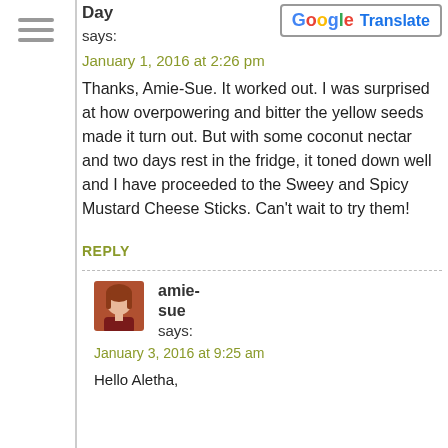Day says:
January 1, 2016 at 2:26 pm
Thanks, Amie-Sue. It worked out. I was surprised at how overpowering and bitter the yellow seeds made it turn out. But with some coconut nectar and two days rest in the fridge, it toned down well and I have proceeded to the Sweey and Spicy Mustard Cheese Sticks. Can't wait to try them!
REPLY
[Figure (photo): Avatar photo of amie-sue, a woman with reddish-brown hair in a dark red top]
amie-sue says:
January 3, 2016 at 9:25 am
Hello Aletha,